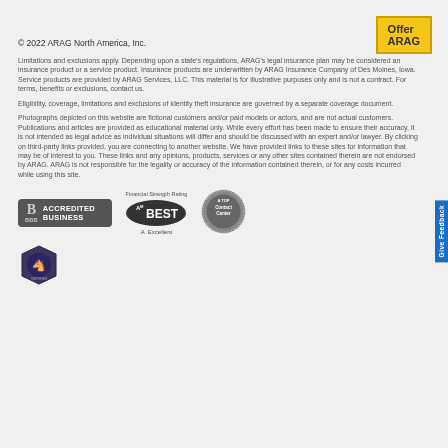[Figure (logo): Offer ARAG yellow button in top right corner]
© 2022 ARAG North America, Inc.
Limitations and exclusions apply. Depending upon a state's regulations, ARAG's legal insurance plan may be considered an insurance product or a service product. Insurance products are underwritten by ARAG Insurance Company of Des Moines, Iowa. Service products are provided by ARAG Services, LLC. This material is for illustrative purposes only and is not a contract. For terms, benefits or exclusions, contact us.
Eligibility, coverage, limitations and exclusions of identity theft insurance are governed by a separate coverage document.
Photographs depicted on this website are fictional customers and/or paid models or actors, and are not actual customers. Publications and articles are provided as educational material only. While every effort has been made to ensure their accuracy, it is not intended as legal advice as individual situations will differ and should be discussed with an expert and/or lawyer. By clicking on third-party links provided, you are connecting to another website. We have provided links to these sites for information that may be of interest to you. These links and any opinions, products, services or any other sites contained therein are not endorsed by ARAG. ARAG is not responsible for the legality or accuracy of the information contained therein, or for any costs incurred while using this site.
[Figure (logo): BBB Accredited Business badge]
[Figure (logo): AM Best Financial Strength Rating A Excellent badge]
[Figure (logo): A Top Contact Center badge]
[Figure (logo): Certified badge with horse emblem]